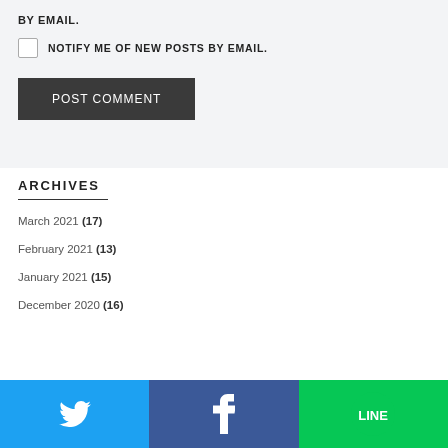BY EMAIL.
NOTIFY ME OF NEW POSTS BY EMAIL.
POST COMMENT
ARCHIVES
March 2021 (17)
February 2021 (13)
January 2021 (15)
December 2020 (16)
[Figure (infographic): Social share bar with Twitter (blue), Facebook (dark blue), and LINE (green) buttons]